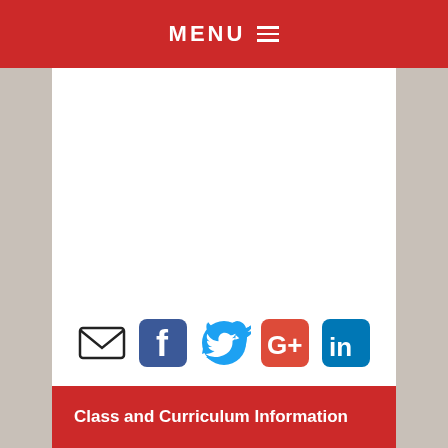MENU ≡
[Figure (infographic): Social sharing icons row: email envelope, Facebook, Twitter bird, Google+, LinkedIn]
Class and Curriculum Information